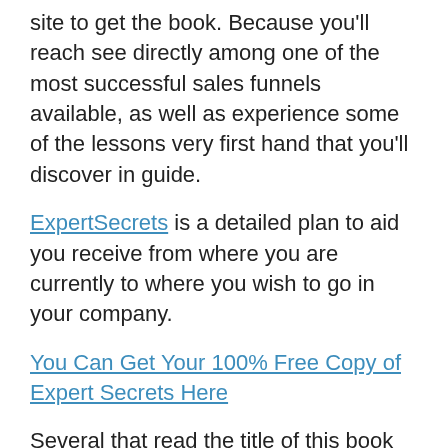site to get the book. Because you'll reach see directly among one of the most successful sales funnels available, as well as experience some of the lessons very first hand that you'll discover in guide.
ExpertSecrets is a detailed plan to aid you receive from where you are currently to where you wish to go in your company.
You Can Get Your 100% Free Copy of Expert Secrets Here
Several that read the title of this book presume it is for somebody that is a specialist, and also you may be assuming that's not you.